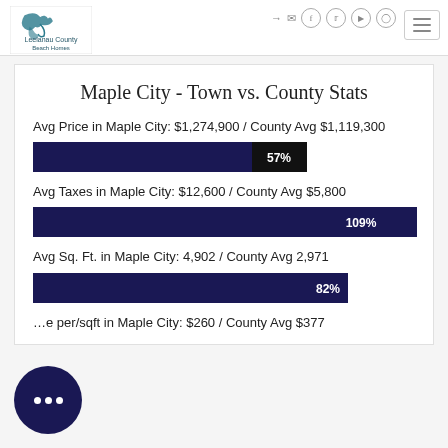Leelanau County Beach Homes
Maple City - Town vs. County Stats
Avg Price in Maple City: $1,274,900 / County Avg $1,119,300
[Figure (bar-chart): Avg Price]
Avg Taxes in Maple City: $12,600 / County Avg $5,800
[Figure (bar-chart): Avg Taxes]
Avg Sq. Ft. in Maple City: 4,902 / County Avg 2,971
[Figure (bar-chart): Avg Sq Ft]
...e per/sqft in Maple City: $260 / County Avg $377